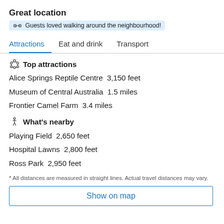Great location
Guests loved walking around the neighbourhood!
Attractions  Eat and drink  Transport
Top attractions
Alice Springs Reptile Centre  3,150 feet
Museum of Central Australia  1.5 miles
Frontier Camel Farm  3.4 miles
What's nearby
Playing Field  2,650 feet
Hospital Lawns  2,800 feet
Ross Park  2,950 feet
* All distances are measured in straight lines. Actual travel distances may vary.
Show on map